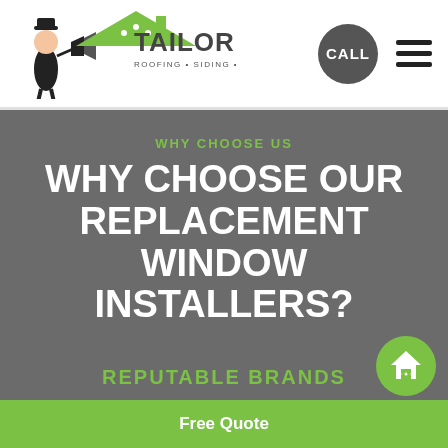[Figure (logo): Tailored Roofing Siding Windows Baths company logo with mascot figure and green roof icon]
CALL
WHY CHOOSE US
WHY CHOOSE OUR REPLACEMENT WINDOW INSTALLERS?
[Figure (illustration): White trophy icon with green star in the center]
REPUTABLE BRANDS
Free Quote